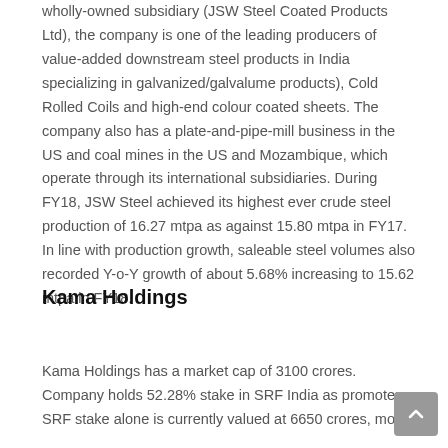wholly-owned subsidiary (JSW Steel Coated Products Ltd), the company is one of the leading producers of value-added downstream steel products in India specializing in galvanized/galvalume products), Cold Rolled Coils and high-end colour coated sheets. The company also has a plate-and-pipe-mill business in the US and coal mines in the US and Mozambique, which operate through its international subsidiaries. During FY18, JSW Steel achieved its highest ever crude steel production of 16.27 mtpa as against 15.80 mtpa in FY17. In line with production growth, saleable steel volumes also recorded Y-o-Y growth of about 5.68% increasing to 15.62 mtpa in FY18.
Kama Holdings
Kama Holdings has a market cap of 3100 crores. Company holds 52.28% stake in SRF India as promoters. SRF stake alone is currently valued at 6650 crores, more